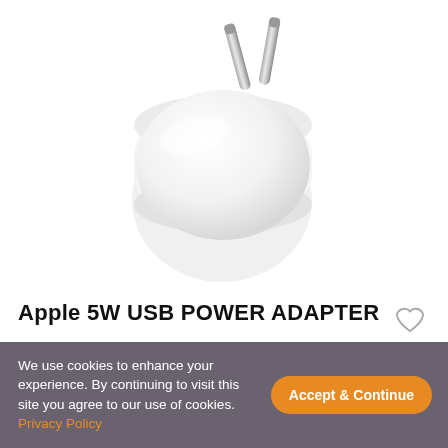[Figure (photo): Apple 5W USB Power Adapter white wall plug with two metallic prongs, shown from a top-angle view on white background]
Apple 5W USB POWER ADAPTER
₹1,900  ₹1,710
( 10% Off )
Buy Now ›
We use cookies to enhance your experience. By continuing to visit this site you agree to our use of cookies. Privacy Policy